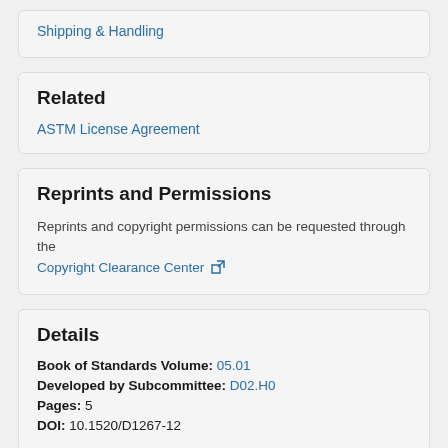Shipping & Handling
Related
ASTM License Agreement
Reprints and Permissions
Reprints and copyright permissions can be requested through the Copyright Clearance Center
Details
Book of Standards Volume: 05.01
Developed by Subcommittee: D02.H0
Pages: 5
DOI: 10.1520/D1267-12